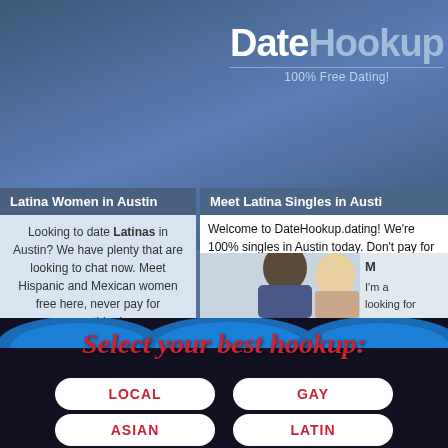[Figure (screenshot): DateHookup dating website screenshot showing logo, Latina Women in Austin section, Meet Latina Singles content, couple photo, and bottom hookup selection buttons]
DateHookup — 100% Free Dating!
Latina Women in Austin
Looking to date Latinas in Austin? We have plenty that are looking to chat now. Meet Hispanic and Mexican women free here, never pay for anything!
Meet Latina Singles in Austin
Welcome to DateHookup.dating! We're 100% singles in Austin today. Don't pay for a Austin here for free.
I'm a
looking for
Select your best hookup:
LOCAL
GAY
ASIAN
LATIN